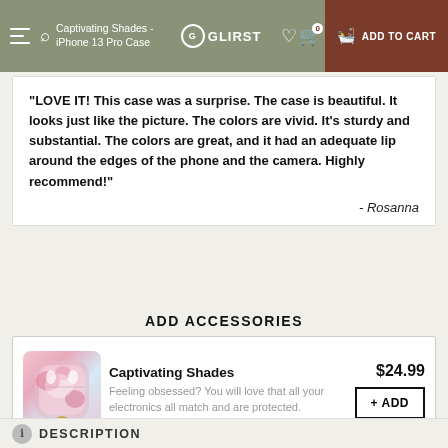Captivating Shades - iPhone 13 Pro Case | GLIRST | ADD TO CART
"LOVE IT! This case was a surprise. The case is beautiful. It looks just like the picture. The colors are vivid. It's sturdy and substantial. The colors are great, and it had an adequate lip around the edges of the phone and the camera. Highly recommend!" - Rosanna
ADD ACCESSORIES
[Figure (photo): Captivating Shades AirPods case with pink and white marble pattern and gold keychain ring]
Captivating Shades $24.99
Feeling obsessed? You will love that all your electronics all match and are protected.
+ ADD
DESCRIPTION